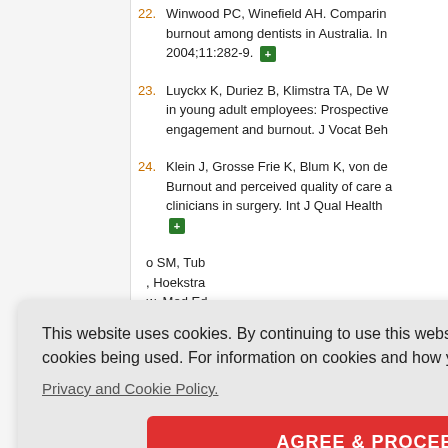22. Winwood PC, Winefield AH. Comparing burnout among dentists in Australia. Int... 2004;11:282-9.
23. Luyckx K, Duriez B, Klimstra TA, De W... in young adult employees: Prospective... engagement and burnout. J Vocat Beh...
24. Klein J, Grosse Frie K, Blum K, von de... Burnout and perceived quality of care... clinicians in surgery. Int J Qual Health...
o SM, Tub... , Hoekstra... w. Med Ed...
ut. JAMA...
Sayyari A... ality of ca...
JE, van d... Donofrio SM, Sprangers F, Jaspers FO...
This website uses cookies. By continuing to use this website you are giving consent to cookies being used. For information on cookies and how you can disable them visit our Privacy and Cookie Policy. AGREE & PROCEED